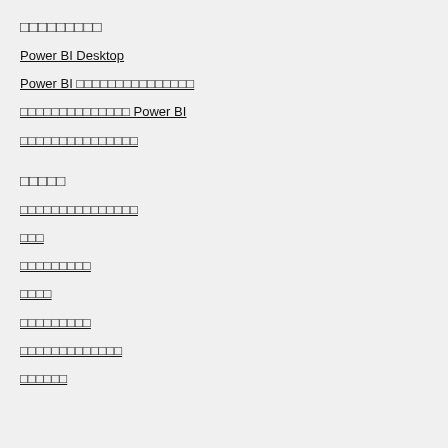□□□□□□□□□
Power BI Desktop
Power BI □□□□□□□□□□□□□□□
□□□□□□□□□□□□□□ Power BI
□□□□□□□□□□□□□□□
□□□□□
□□□□□□□□□□□□□□□
□□□
□□□□□□□□□
□□□□
□□□□□□□□□
□□□□□□□□□□□□□
□□□□□□